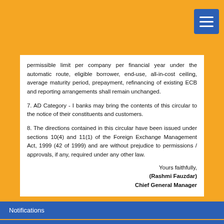permissible limit per company per financial year under the automatic route, eligible borrower, end-use, all-in-cost ceiling, average maturity period, prepayment, refinancing of existing ECB and reporting arrangements shall remain unchanged.
7. AD Category - I banks may bring the contents of this circular to the notice of their constituents and customers.
8. The directions contained in this circular have been issued under sections 10(4) and 11(1) of the Foreign Exchange Management Act, 1999 (42 of 1999) and are without prejudice to permissions / approvals, if any, required under any other law.
Yours faithfully,
(Rashmi Fauzdar)
Chief General Manager
Notifications
Master Directions
Master Circulars